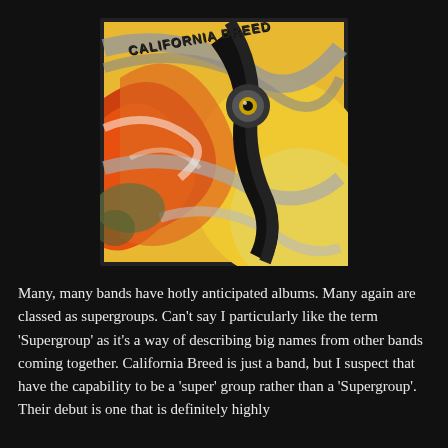[Figure (illustration): Album cover art for 'California Breed' showing a colorful abstract painting of what appears to be an animal eye with swirling yellow, orange, red, and black brushstrokes. The text 'CALIFORNIA BREED' is written in handwritten style at the top left of the image.]
Many, many bands have hotly anticipated albums. Many again are classed as supergroups. Can't say I particularly like the term 'Supergroup' as it's a way of describing big names from other bands coming together. California Breed is just a band, but I suspect that have the capability to be a 'super' group rather than a 'Supergroup'. Their debut is one that is definitely highly